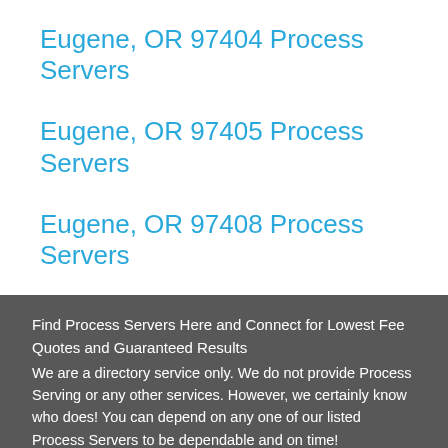Eugene, OR 97404 Process Servers
Eugene, OR 97405 Process Servers
Eugene, OR 97408 Process Servers
Eugene, OR 97440 Process Servers
Find Process Servers Here and Connect for Lowest Fee Quotes and Guaranteed Results
We are a directory service only. We do not provide Process Serving or any other services. However, we certainly know who does! You can depend on any one of our listed Process Servers to be dependable and on time!